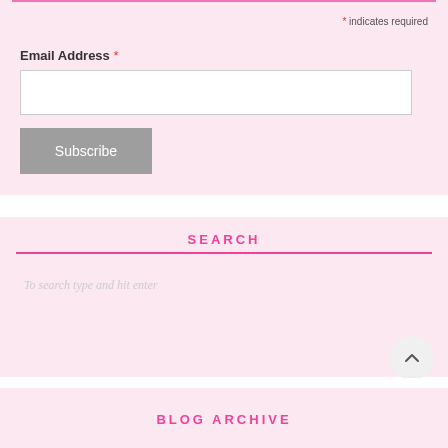* indicates required
Email Address *
Subscribe
SEARCH
To search type and hit enter
BLOG ARCHIVE